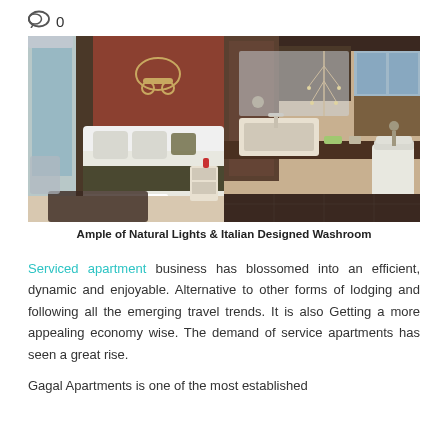0
[Figure (photo): Two side-by-side interior photos: left shows a hotel bedroom with white bed, dark accent wall, moped wall decor, and large windows; right shows a modern bathroom with vessel sink, dark vanity, and wall-mounted fixtures.]
Ample of Natural Lights & Italian Designed Washroom
Serviced apartment business has blossomed into an efficient, dynamic and enjoyable. Alternative to other forms of lodging and following all the emerging travel trends. It is also Getting a more appealing economy wise. The demand of service apartments has seen a great rise.
Gagal Apartments is one of the most established